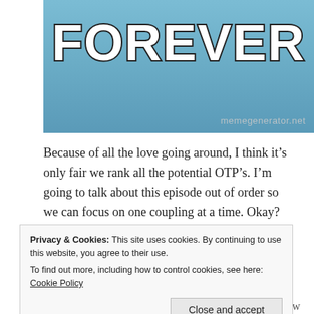[Figure (photo): Meme image with large bold white text reading FOREVER on a blue/teal background, with watermark memegenerator.net in bottom right]
Because of all the love going around, I think it’s only fair we rank all the potential OTP’s. I’m going to talk about this episode out of order so we can focus on one coupling at a time. Okay? Okay.
#5. Tweedle-dee and
Privacy & Cookies: This site uses cookies. By continuing to use this website, you agree to their use.
To find out more, including how to control cookies, see here: Cookie Policy
Can’t just say, I did not see this one coming. But oh, how